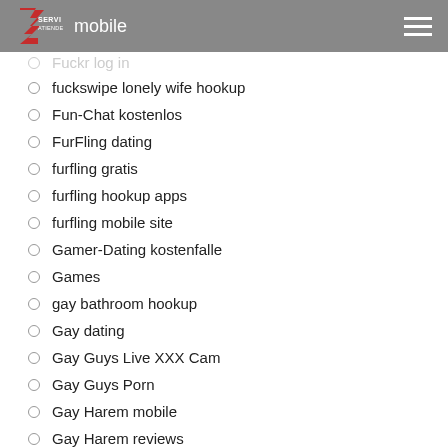Servi Atiende mobile
fuckswipe lonely wife hookup
Fun-Chat kostenlos
FurFling dating
furfling gratis
furfling hookup apps
furfling mobile site
Gamer-Dating kostenfalle
Games
gay bathroom hookup
Gay dating
Gay Guys Live XXX Cam
Gay Guys Porn
Gay Harem mobile
Gay Harem reviews
GayParship kostenlos
gayroyaldating.de Anmeldung